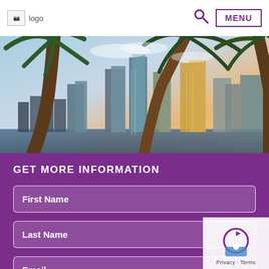logo | search | MENU
[Figure (photo): Miami city skyline at sunset framed by palm trees, viewed from the waterfront]
GET MORE INFORMATION
First Name
Last Name
Email